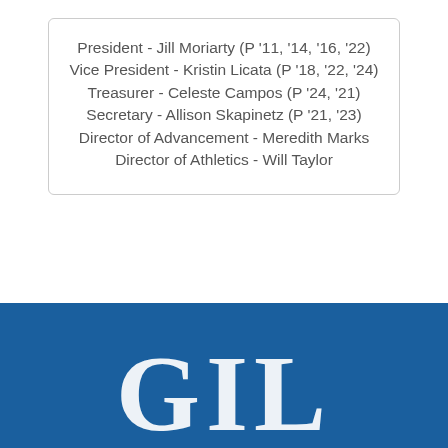President - Jill Moriarty (P '11, '14, '16, '22)
Vice President - Kristin Licata (P '18, '22, '24)
Treasurer - Celeste Campos (P '24, '21)
Secretary - Allison Skapinetz (P '21, '23)
Director of Advancement - Meredith Marks
Director of Athletics - Will Taylor
[Figure (logo): GIL logo letters in white on blue background, large serif font, partially visible at bottom of page]